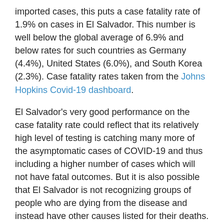imported cases, this puts a case fatality rate of 1.9% on cases in El Salvador. This number is well below the global average of 6.9% and below rates for such countries as Germany (4.4%), United States (6.0%), and South Korea (2.3%). Case fatality rates taken from the Johns Hopkins Covid-19 dashboard.
El Salvador's very good performance on the case fatality rate could reflect that its relatively high level of testing is catching many more of the asymptomatic cases of COVID-19 and thus including a higher number of cases which will not have fatal outcomes. But it is also possible that El Salvador is not recognizing groups of people who are dying from the disease and instead have other causes listed for their deaths. The proof of this would be a comparison of the total number of deaths occurring in El Salvador since the arrival of the virus in March to the average number of deaths during the comparable period in prior years. For an explanation see 63,000 Missing Deaths: Tracking the True Toll of the Coronavirus Outbreak